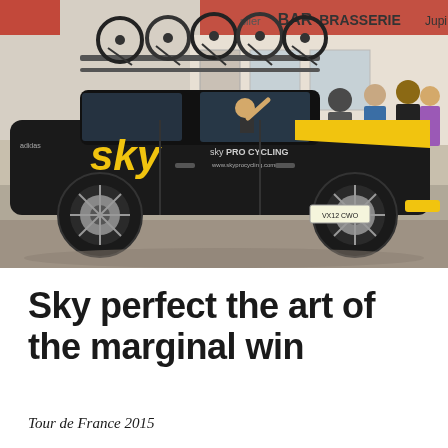[Figure (photo): A black Team Sky Pro Cycling Jaguar estate car with yellow hood stripe and bicycles on the roof rack, driving on a street in France. A brasserie and bar are visible in the background with spectators watching.]
Sky perfect the art of the marginal win
Tour de France 2015